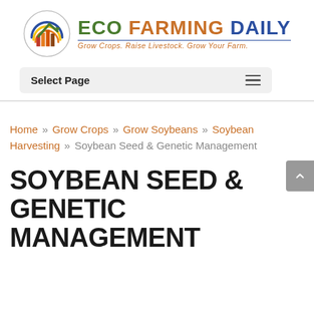[Figure (logo): Eco Farming Daily circular logo with green arrow, colored bars, and arc lines, alongside the text 'ECO FARMING DAILY' and tagline 'Grow Crops. Raise Livestock. Grow Your Farm.']
Select Page
Home » Grow Crops » Grow Soybeans » Soybean Harvesting » Soybean Seed & Genetic Management
SOYBEAN SEED & GENETIC MANAGEMENT